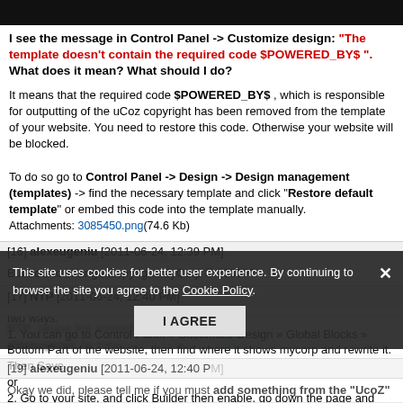[Figure (screenshot): Black header bar at top of page]
I see the message in Control Panel -> Customize design: "The template doesn't contain the required code $POWERED_BY$ ". What does it mean? What should I do?
It means that the required code $POWERED_BY$ , which is responsible for outputting of the uCoz copyright has been removed from the template of your website. You need to restore this code. Otherwise your website will be blocked.

To do so go to Control Panel -> Design -> Design management (templates) -> find the necessary template and click "Restore default template" or embed this code into the template manually.
Attachments: 3085450.png(74.6 Kb)
[16] alexeugeniu [2011-06-24, 12:39 PM]
But how to change Copyright MyCorp © 2009??
[17] NTP [2011-06-24, 12:40 PM]
two ways:
1. You can go to Control Panel » Customize Design » Global Blocks » Bottom Part of the website, then find where it shows mycorp and rewrite it. Then Save
or
2. Go to your site, and click Builder then enable. go down the page and you will be able to rewrite it and also be able to rewrite the Welcome title. after that go to builder and click save changes.
[18] Dartz [2011-06-24, 12:40 PM]
NTP, please link instead of re-explaining.
alexeugeniu, by means of Builder...
[19] alexeugeniu [2011-06-24, 12:40 PM]
Okay we did, please tell me if you must add something from the "UcoZ"